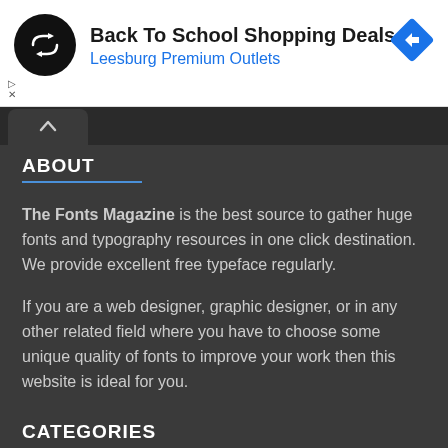[Figure (advertisement): Ad banner for Back To School Shopping Deals at Leesburg Premium Outlets. Features a black circular logo with double arrow symbol on left, blue diamond navigation icon on right.]
Back To School Shopping Deals
Leesburg Premium Outlets
ABOUT
The Fonts Magazine is the best source to gather huge fonts and typography resources in one click destination. We provide excellent free typeface regularly.
If you are a web designer, graphic designer, or in any other related field where you have to choose some unique quality of fonts to improve your work then this website is ideal for you.
CATEGORIES